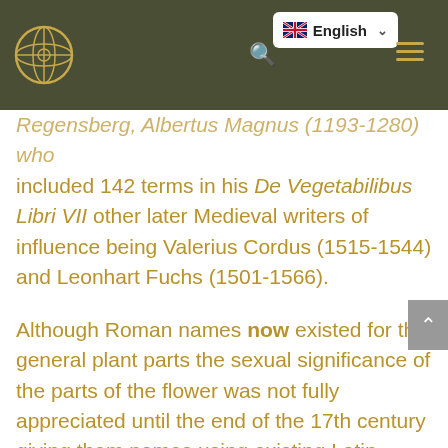Navigation bar with logo, language selector (English), search icon, and hamburger menu
Regensberg, Albertus Magnus (1193-1280) who included 142 terms in his De Vegetabilibus Libri VII other later Medieval writers of influence being Valerius Cordus (1515-1544) and Leonhart Fuchs (1501-1566).
Although Roman names now existed for the general plant parts the sexual significance of the parts of the flower was not fully appreciated until the end of the 17th century giving them names using existing Latin words but giving them precise botanical meanings. As more and more plants were studies and introduced to European gardens it was clear